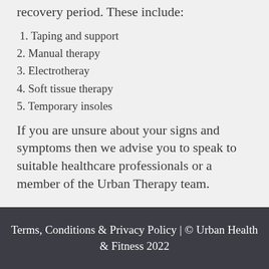recovery period. These include:
1. Taping and support
2. Manual therapy
3. Electrotheray
4. Soft tissue therapy
5. Temporary insoles
If you are unsure about your signs and symptoms then we advise you to speak to suitable healthcare professionals or a member of the Urban Therapy team.
Terms, Conditions & Privacy Policy | © Urban Health & Fitness 2022